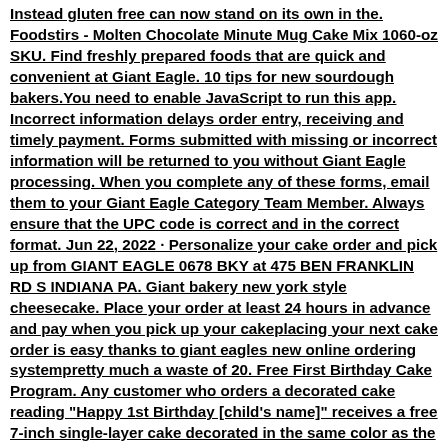Instead gluten free can now stand on its own in the. Foodstirs - Molten Chocolate Minute Mug Cake Mix 1060-oz SKU. Find freshly prepared foods that are quick and convenient at Giant Eagle. 10 tips for new sourdough bakers.You need to enable JavaScript to run this app. Incorrect information delays order entry, receiving and timely payment. Forms submitted with missing or incorrect information will be returned to you without Giant Eagle processing. When you complete any of these forms, email them to your Giant Eagle Category Team Member. Always ensure that the UPC code is correct and in the correct format. Jun 22, 2022 · Personalize your cake order and pick up from GIANT EAGLE 0678 BKY at 475 BEN FRANKLIN RD S INDIANA PA. Giant bakery new york style cheesecake. Place your order at least 24 hours in advance and pay when you pick up your cakeplacing your next cake order is easy thanks to giant eagles new online ordering systempretty much a waste of 20. Free First Birthday Cake Program. Any customer who orders a decorated cake reading "Happy 1st Birthday [child's name]" receives a free 7-inch single-layer cake decorated in the same color as the order. This free cake, decorated with icing, a border, and an inscription, is the baby's own cake to enjoy. Browse Decorated Cakesgiant eagle #4078 bky (330) 793-2994 5220 mahoning ave youngstown, oh 44515Let our expert Cake Decorators help you plan the perfect cake design for your party. Please place your order at least 24